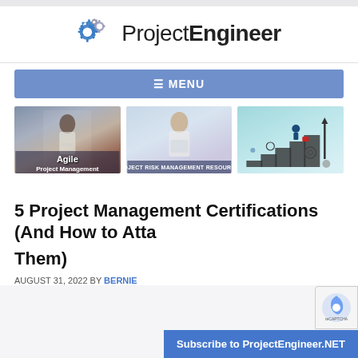ProjectEngineer
≡ MENU
[Figure (photo): Woman looking at tablet - Agile Project Management thumbnail]
[Figure (photo): Woman smiling with tablet - Project Risk Management Resources thumbnail]
[Figure (illustration): Cartoon businessman climbing stairs with gears - career advancement illustration]
5 Project Management Certifications (And How to Attain Them)
AUGUST 31, 2022 BY BERNIE
Subscribe to ProjectEngineer.NET